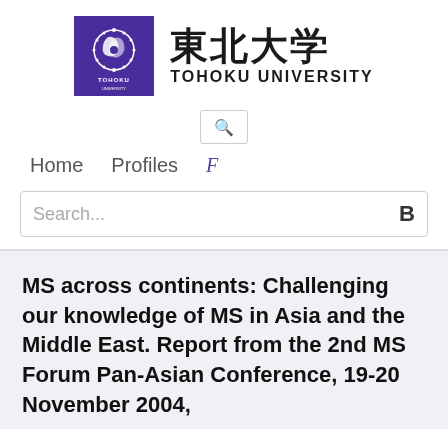[Figure (logo): Tohoku University logo: purple square with circular emblem showing stylized fish/wave motif in white, text TOHOKU UNIVERSITY below emblem. Beside it, Japanese kanji 東北大学 in large bold text and TOHOKU UNIVERSITY in smaller caps below.]
[Figure (screenshot): Search icon button (magnifying glass Q) in a rounded rectangle border]
Home    Profiles    F
Search...   B
MS across continents: Challenging our knowledge of MS in Asia and the Middle East. Report from the 2nd MS Forum Pan-Asian Conference, 19-20 November 2004,